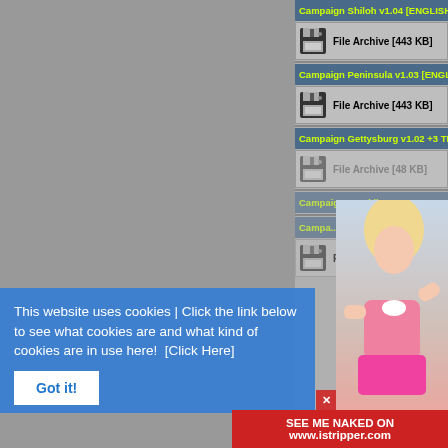Campaign Shiloh v1.04 [ENGLISH] No-CD/Fixed EXE
File Archive [443 KB]
Campaign Peninsula v1.03 [ENGLISH] No-CD/Fixed EXE
File Archive [443 KB]
Campaign Gettysburg v1.02 +3 TRAINER
File Archive [48 KB]
Campaign Franklin v1.06 +3 TRAINER
Campaign Corinth v1.07 [ENGLISH] No-CD/Fixed EXE
File Archive [369 KB]
This website uses cookies | Click the link below to see what cookies are and what kind of cookies are in use here!  [Click Here]
Got it!
SEE ME NAKED ON www.istripper.com